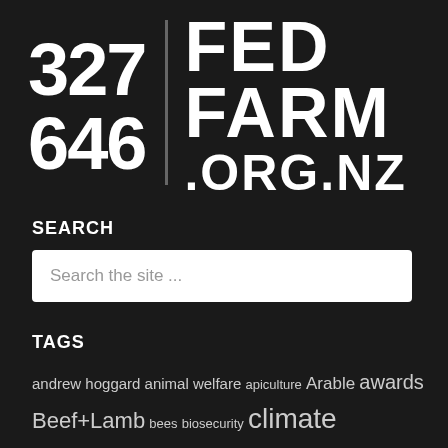327 646 FED FARM .ORG.NZ
SEARCH
Search the site ...
TAGS
andrew hoggard animal welfare apiculture Arable awards Beef+Lamb bees biosecurity climate change competition consumer councils COVID-19 Covid-19 effects dairy